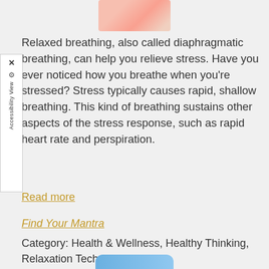[Figure (photo): Partial image of a person, pink and peach tones, cropped at top]
Relaxed breathing, also called diaphragmatic breathing, can help you relieve stress. Have you ever noticed how you breathe when you're stressed? Stress typically causes rapid, shallow breathing. This kind of breathing sustains other aspects of the stress response, such as rapid heart rate and perspiration.
Read more
Find Your Mantra
Category: Health & Wellness, Healthy Thinking, Relaxation Techniques
[Figure (other): Blue rounded button element partially visible at bottom]